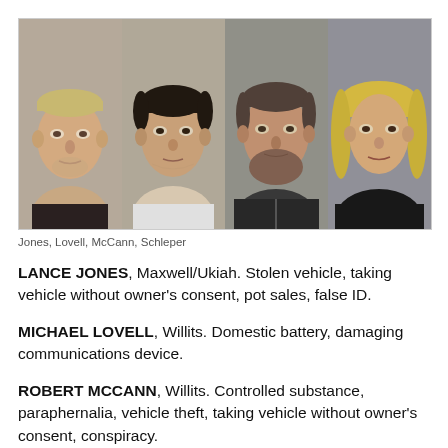[Figure (photo): Four mugshot photos side by side: Jones, Lovell, McCann, Schleper]
Jones, Lovell, McCann, Schleper
LANCE JONES, Maxwell/Ukiah. Stolen vehicle, taking vehicle without owner's consent, pot sales, false ID.
MICHAEL LOVELL, Willits. Domestic battery, damaging communications device.
ROBERT MCCANN, Willits. Controlled substance, paraphernalia, vehicle theft, taking vehicle without owner's consent, conspiracy.